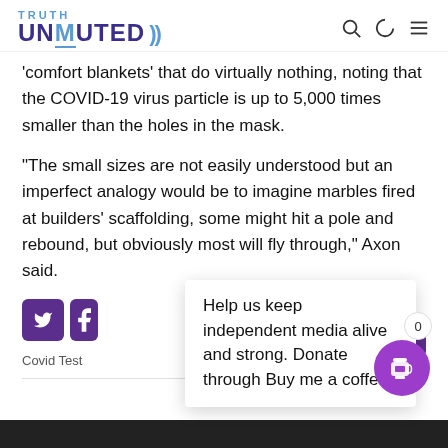TRUTH UNMUTED
'comfort blankets' that do virtually nothing, noting that the COVID-19 virus particle is up to 5,000 times smaller than the holes in the mask.
“The small sizes are not easily understood but an imperfect analogy would be to imagine marbles fired at builders’ scaffolding, some might hit a pole and rebound, but obviously most will fly through,” Axon said.
Help us keep independent media alive and strong. Donate through Buy me a coffee!
Covid Test